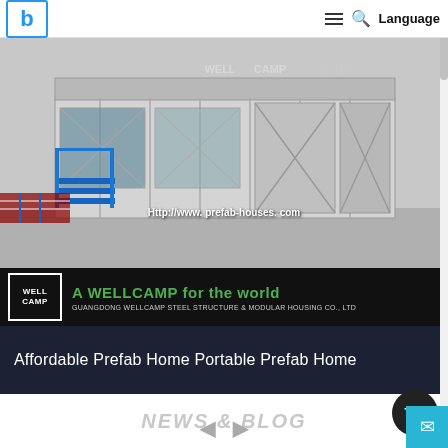b  ≡  🔍  Language
[Figure (photo): Photograph of a prefab modular building/container home with blue ramp and glass windows, with text 'Http://www.prefab-houses.com' overlaid and WELLCAMP branding]
A WELLCAMP for the world
GUANGDONG WELLCAMP STEEL STRUCTURE & MODULAR HOUSING CO., LTD
Affordable Prefab Home Portable Prefab Home
NEWS & BLOG